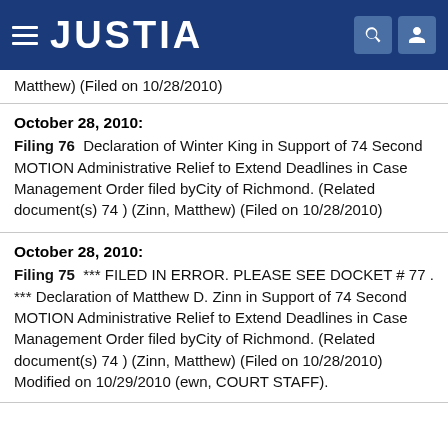JUSTIA
Matthew) (Filed on 10/28/2010)
October 28, 2010:
Filing 76  Declaration of Winter King in Support of 74 Second MOTION Administrative Relief to Extend Deadlines in Case Management Order filed byCity of Richmond. (Related document(s) 74 ) (Zinn, Matthew) (Filed on 10/28/2010)
October 28, 2010:
Filing 75  *** FILED IN ERROR. PLEASE SEE DOCKET # 77 . *** Declaration of Matthew D. Zinn in Support of 74 Second MOTION Administrative Relief to Extend Deadlines in Case Management Order filed byCity of Richmond. (Related document(s) 74 ) (Zinn, Matthew) (Filed on 10/28/2010) Modified on 10/29/2010 (ewn, COURT STAFF).